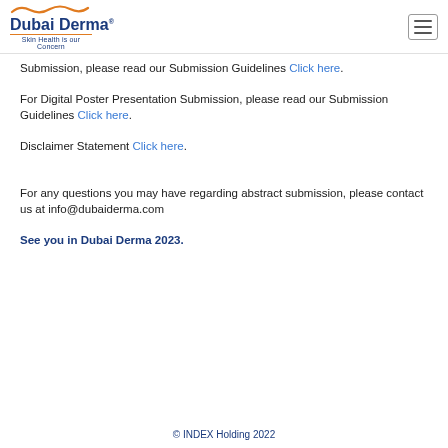Dubai Derma® — Skin Health is our Concern
Submission, please read our Submission Guidelines Click here.
For Digital Poster Presentation Submission, please read our Submission Guidelines Click here.
Disclaimer Statement Click here.
For any questions you may have regarding abstract submission, please contact us at info@dubaiderma.com
See you in Dubai Derma 2023.
© INDEX Holding 2022